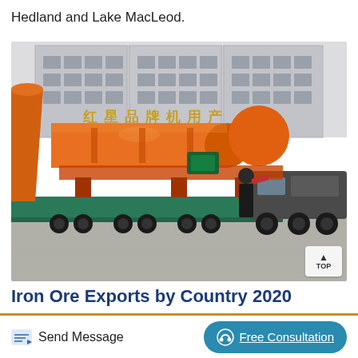Hedland and Lake MacLeod.
[Figure (photo): Large orange industrial rotary drum/cylinder machinery loaded on a flatbed truck, parked in front of a building with Chinese characters. A worker stands beside the truck cab.]
Iron Ore Exports by Country 2020
Iron ore smelter International sales of iron ore exported from all countries totaled US$140.1
Send Message   Free Consultation